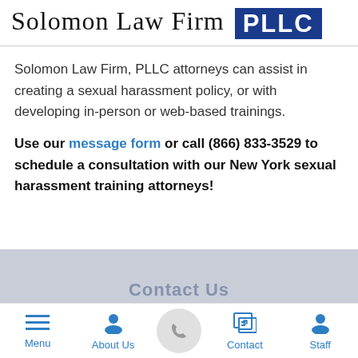Solomon Law Firm PLLC
Solomon Law Firm, PLLC attorneys can assist in creating a sexual harassment policy, or with developing in-person or web-based trainings.
Use our message form or call (866) 833-3529 to schedule a consultation with our New York sexual harassment training attorneys!
[Figure (screenshot): Partially visible contact banner with text 'Contact Us' in gray]
Menu | About Us | [Call button] | Contact | Staff